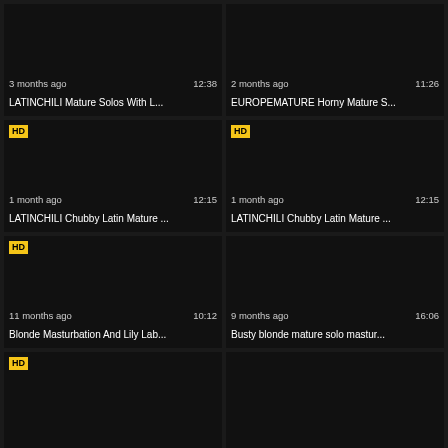[Figure (screenshot): Video thumbnail 1 - dark/black]
3 months ago   12:38
LATINCHILI Mature Solos With L...
[Figure (screenshot): Video thumbnail 2 - dark/black]
2 months ago   11:26
EUROPEMATURE Horny Mature S...
[Figure (screenshot): Video thumbnail 3 - dark/black with HD badge]
1 month ago   12:15
LATINCHILI Chubby Latin Mature ...
[Figure (screenshot): Video thumbnail 4 - dark/black with HD badge]
1 month ago   12:15
LATINCHILI Chubby Latin Mature ...
[Figure (screenshot): Video thumbnail 5 - dark/black with HD badge]
11 months ago   10:12
Blonde Masturbation And Lily Lab...
[Figure (screenshot): Video thumbnail 6 - dark/black]
9 months ago   16:06
Busty blonde mature solo mastur...
[Figure (screenshot): Video thumbnail 7 - dark/black with HD badge, partial]
[Figure (screenshot): Video thumbnail 8 - dark/black, partial]